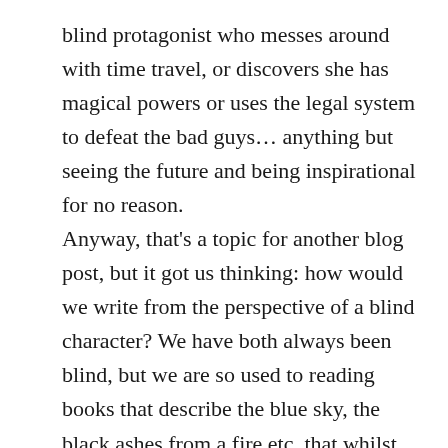blind protagonist who messes around with time travel, or discovers she has magical powers or uses the legal system to defeat the bad guys… anything but seeing the future and being inspirational for no reason.
Anyway, that's a topic for another blog post, but it got us thinking: how would we write from the perspective of a blind character? We have both always been blind, but we are so used to reading books that describe the blue sky, the black ashes from a fire etc, that whilst we don't actually know what these things look like we have just subconciously included visual descriptions in our writing. And there is nothing wrong with that. Of course we are allowed to use those descriptions if we want to. But we were suddenly having to re-think all of that